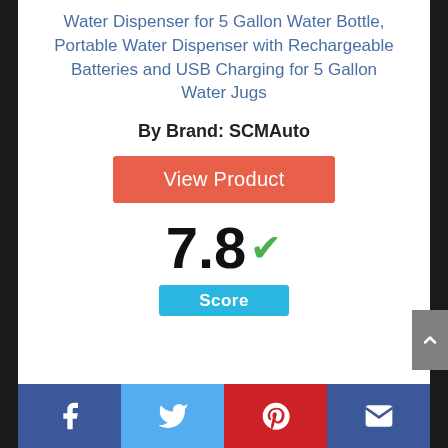Water Dispenser for 5 Gallon Water Bottle, Portable Water Dispenser with Rechargeable Batteries and USB Charging for 5 Gallon Water Jugs
By Brand: SCMAuto
View Product
7.8 Score
[Figure (other): Partial circle gauge showing score 8, cut off at bottom of page]
Facebook Twitter Pinterest Email social share bar